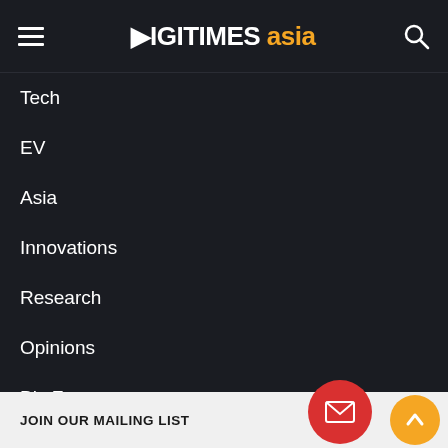DIGITIMES asia
Tech
EV
Asia
Innovations
Research
Opinions
Biz Focus
TOOLS & SERVICES
Before going to press
Industry guidebook
Frankly speaking
JOIN OUR MAILING LIST